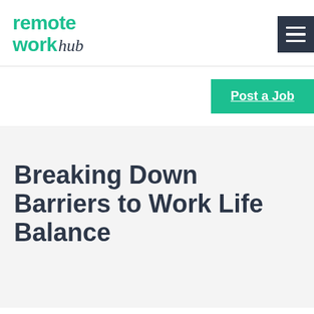[Figure (logo): Remote Work Hub logo with teal green text for 'remote work' and dark cursive text for 'hub']
[Figure (other): Dark hamburger menu button (three horizontal white lines on dark background)]
Post a Job
Breaking Down Barriers to Work Life Balance